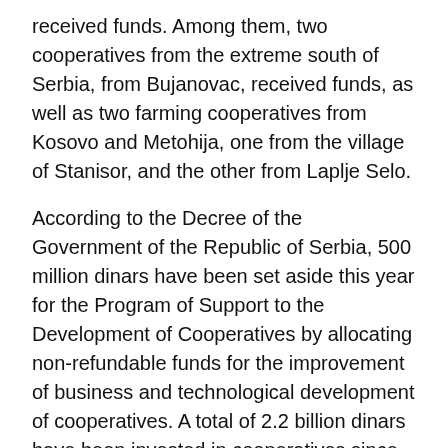received funds. Among them, two cooperatives from the extreme south of Serbia, from Bujanovac, received funds, as well as two farming cooperatives from Kosovo and Metohija, one from the village of Stanisor, and the other from Laplje Selo.
According to the Decree of the Government of the Republic of Serbia, 500 million dinars have been set aside this year for the Program of Support to the Development of Cooperatives by allocating non-refundable funds for the improvement of business and technological development of cooperatives. A total of 2.2 billion dinars have been invested in cooperatives since 2017, thanks to the “500 Cooperatives in 500 Villages” Program, created in cooperation with Minister Milan Krkobabic and the Academic Board for the Village, headed by Academician Dragan Skoric.